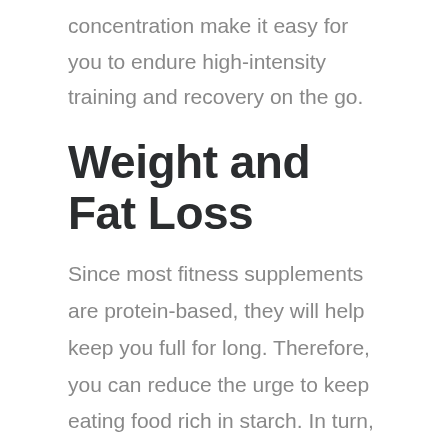concentration make it easy for you to endure high-intensity training and recovery on the go.
Weight and Fat Loss
Since most fitness supplements are protein-based, they will help keep you full for long. Therefore, you can reduce the urge to keep eating food rich in starch. In turn, you will be filled with fewer calories, and this will encourage weight loss. Moreover, the supplements contribute to the leanness of your body when complemented with exercises.
Added Nutrients to the Body